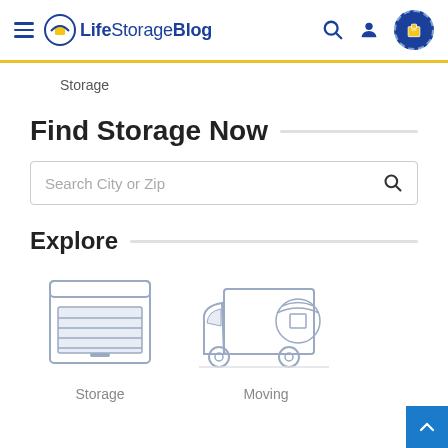Life Storage Blog
Storage
Find Storage Now
Search City or Zip
Explore
[Figure (illustration): Storage unit icon: outlined garage-style roll-up door building]
Storage
[Figure (illustration): Moving truck icon with Life Storage logo on the side]
Moving